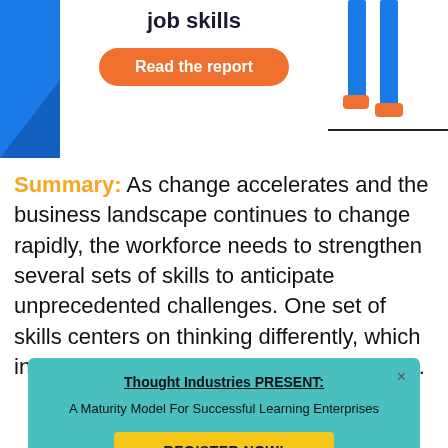[Figure (illustration): Banner with blue decorative shapes on left and right, center text 'job skills' in bold black, and an orange rounded button labeled 'Read the report']
Summary: As change accelerates and the business landscape continues to change rapidly, the workforce needs to strengthen several sets of skills to anticipate unprecedented challenges. One set of skills centers on thinking differently, which includes using structured problem-solving.
[Figure (infographic): Teal popup overlay titled 'Thought Industries PRESENT:' with subtitle 'A Maturity Model For Successful Learning Enterprises' and a yellow button labeled 'REGISTER NOW!']